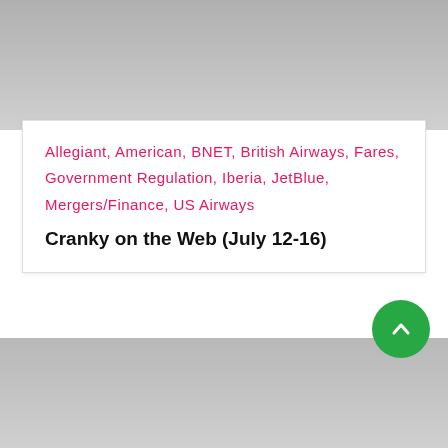[Figure (photo): Gray gradient image block at the top of the page]
Allegiant, American, BNET, British Airways, Fares, Government Regulation, Iberia, JetBlue, Mergers/Finance, US Airways
Cranky on the Web (July 12-16)
[Figure (other): Green circular scroll-to-top button with upward chevron arrow]
[Figure (photo): Gray gradient image block at the bottom of the page]